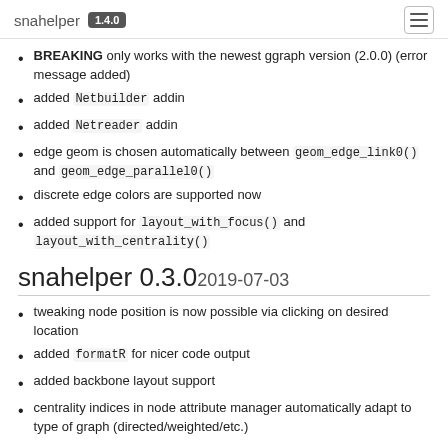snahelper 1.4.0
BREAKING only works with the newest ggraph version (2.0.0) (error message added)
added Netbuilder addin
added Netreader addin
edge geom is chosen automatically between geom_edge_link0() and geom_edge_parallel0()
discrete edge colors are supported now
added support for layout_with_focus() and layout_with_centrality()
snahelper 0.3.0 2019-07-03
tweaking node position is now possible via clicking on desired location
added formatR for nicer code output
added backbone layout support
centrality indices in node attribute manager automatically adapt to type of graph (directed/weighted/etc.)